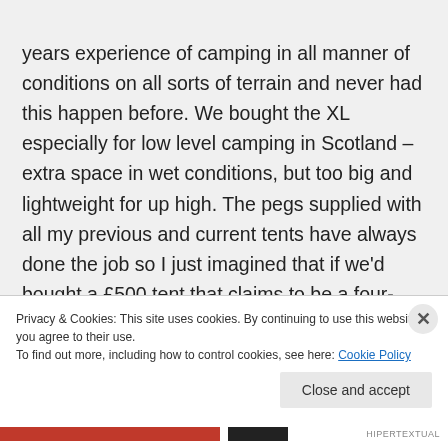years experience of camping in all manner of conditions on all sorts of terrain and never had this happen before. We bought the XL especially for low level camping in Scotland – extra space in wet conditions, but too big and lightweight for up high. The pegs supplied with all my previous and current tents have always done the job so I just imagined that if we'd bought a £500 tent that claims to be a four-season tent with large stability in windy conditions then
Privacy & Cookies: This site uses cookies. By continuing to use this website, you agree to their use.
To find out more, including how to control cookies, see here: Cookie Policy
Close and accept